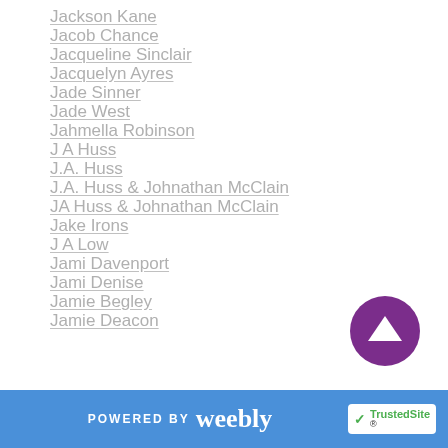Jackson Kane
Jacob Chance
Jacqueline Sinclair
Jacquelyn Ayres
Jade Sinner
Jade West
Jahmella Robinson
J A Huss
J.A. Huss
J.A. Huss & Johnathan McClain
JA Huss & Johnathan McClain
Jake Irons
J A Low
Jami Davenport
Jami Denise
Jamie Begley
Jamie Deacon
POWERED BY weebly | TrustedSite